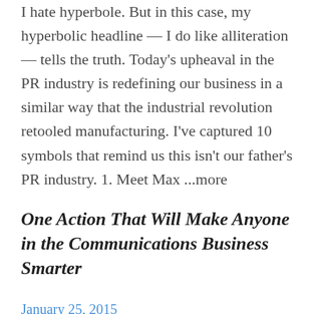I hate hyperbole. But in this case, my hyperbolic headline — I do like alliteration — tells the truth. Today's upheaval in the PR industry is redefining our business in a similar way that the industrial revolution retooled manufacturing. I've captured 10 symbols that remind us this isn't our father's PR industry. 1. Meet Max ...more
One Action That Will Make Anyone in the Communications Business Smarter
January 25, 2015